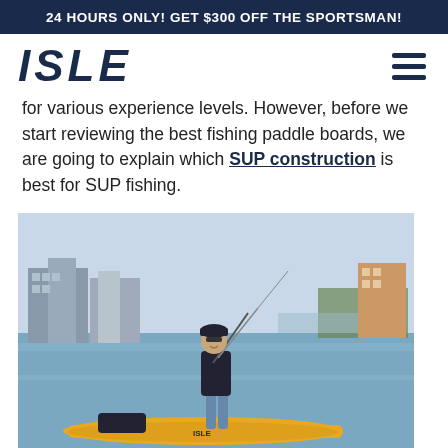24 HOURS ONLY! GET $300 OFF THE SPORTSMAN!
[Figure (logo): ISLE brand logo in bold dark navy italic text]
for various experience levels. However, before we start reviewing the best fishing paddle boards, we are going to explain which SUP construction is best for SUP fishing.
[Figure (photo): A man standing on a yellow inflatable ISLE paddle board on calm water, holding a fishing rod, with a city skyline and marina in the background. A board finder tab is visible on the right side.]